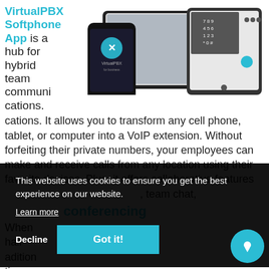VirtualPBX Softphone App is a hub for hybrid team communications. It allows you to transform any cell phone, tablet, or computer into a VoIP extension. Without forfeiting their private numbers, your employees can make and receive calls from any location using their favorite devices. Plus, it offers collaborative features such as presence, video conferencing, team chat,
[Figure (screenshot): Screenshots of VirtualPBX app on phone, laptop, and tablet devices]
conferencing
When... hall... addition time
This website uses cookies to ensure you get the best experience on our website.
Learn more
Decline   Got it!